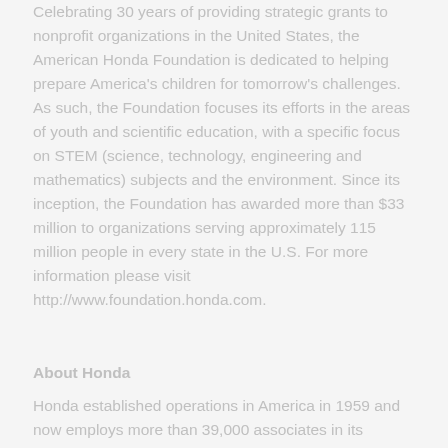Celebrating 30 years of providing strategic grants to nonprofit organizations in the United States, the American Honda Foundation is dedicated to helping prepare America's children for tomorrow's challenges. As such, the Foundation focuses its efforts in the areas of youth and scientific education, with a specific focus on STEM (science, technology, engineering and mathematics) subjects and the environment. Since its inception, the Foundation has awarded more than $33 million to organizations serving approximately 115 million people in every state in the U.S. For more information please visit http://www.foundation.honda.com.
About Honda
Honda established operations in America in 1959 and now employs more than 39,000 associates in its